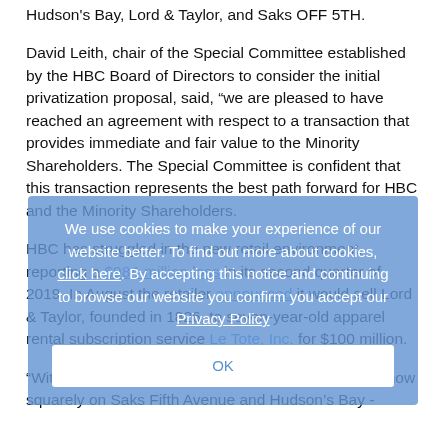Hudson's Bay, Lord & Taylor, and Saks OFF 5TH.
David Leith, chair of the Special Committee established by the HBC Board of Directors to consider the initial privatization proposal, said, “we are pleased to have reached an agreement with respect to a transaction that provides immediate and fair value to the Minority Shareholders. The Special Committee is confident that this transaction represents the best path forward for HBC and the Minority Shareholders.
HBC has struggled in the new retail environment, reporting a $984-million loss in its second quarter of 2019. In August the retailer announced it would sell Lord & Taylor, founded in 1826, to seven-year-old apparel rental subscription service Le Tote, Inc. for $100 million.
“With the Lord & Taylor sale agreement, our focus is now squarely on Saks Fifth Avenue and Hudson’s Bay -